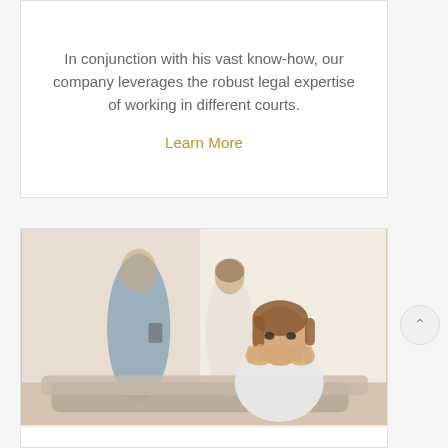In conjunction with his vast know-how, our company leverages the robust legal expertise of working in different courts.
Learn More
[Figure (photo): A sad young girl resting her face in her hands on a couch while a man and woman argue in the blurred background, depicting a family conflict or divorce scene.]